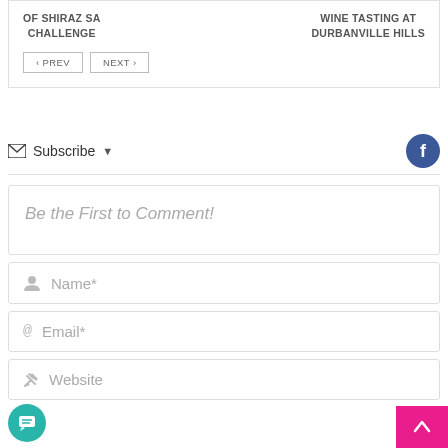OF SHIRAZ SA CHALLENGE
WINE TASTING AT DURBANVILLE HILLS
< PREV   NEXT >
Subscribe ▾
Be the First to Comment!
Name*
Email*
Website